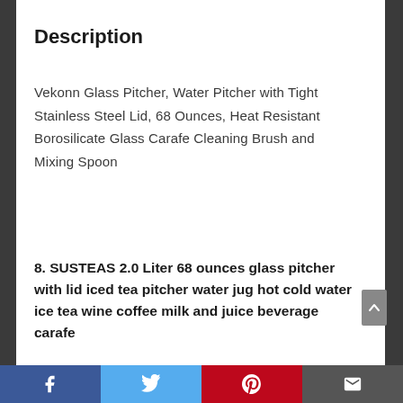Description
Vekonn Glass Pitcher, Water Pitcher with Tight Stainless Steel Lid, 68 Ounces, Heat Resistant Borosilicate Glass Carafe Cleaning Brush and Mixing Spoon
8. SUSTEAS 2.0 Liter 68 ounces glass pitcher with lid iced tea pitcher water jug hot cold water ice tea wine coffee milk and juice beverage carafe
[Figure (infographic): Social media share bar with Facebook, Twitter, Pinterest, and email icons]